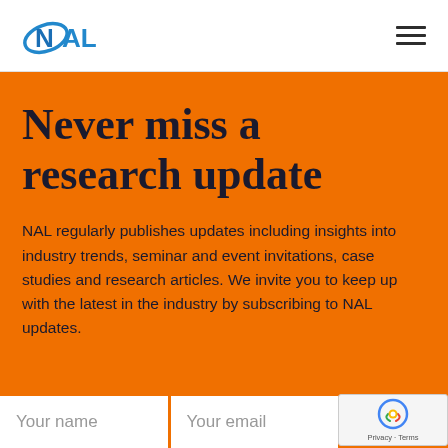[Figure (logo): NAL logo — blue orbital ring around stylized N letter with NAL text]
Never miss a research update
NAL regularly publishes updates including insights into industry trends, seminar and event invitations, case studies and research articles. We invite you to keep up with the latest in the industry by subscribing to NAL updates.
Your name
Your email
[Figure (other): reCAPTCHA badge with Privacy and Terms links]